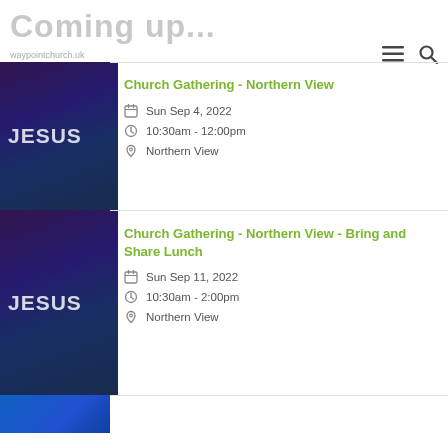Coming up...
waypointchurch.uk
Church Gathering - Northern View
Sun Sep 4, 2022
10:30am - 12:00pm
Northern View
Church Gathering - Northern View - Bring and Share Lunch
Sun Sep 11, 2022
10:30am - 2:00pm
Northern View